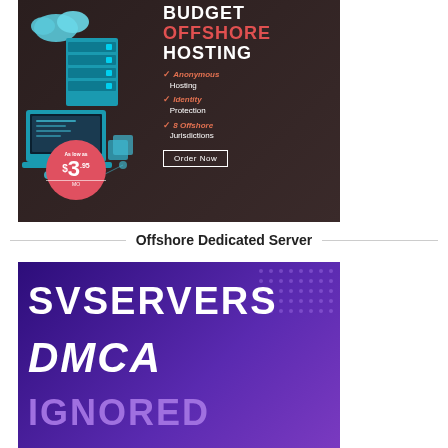[Figure (infographic): Budget Offshore Hosting advertisement banner with dark brown background, server/laptop illustrations on left, text listing Anonymous Hosting, Identity Protection, 8 Offshore Jurisdictions features with checkmarks, price bubble showing $3.95/MO, and Order Now button]
Offshore Dedicated Server
[Figure (infographic): SVSERVERS DMCA IGNORED advertisement banner with purple gradient background and white bold text, dot pattern decoration in top-right corner]